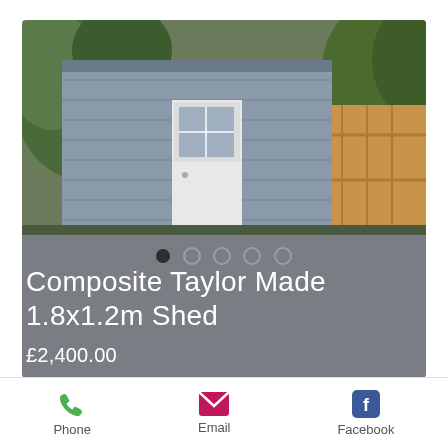[Figure (photo): A grey composite shed with white door and window, surrounded by greenery and wooden fence]
Composite Taylor Made 1.8x1.2m Shed
£2,400.00
Do you have rear access and easy
Phone  Email  Facebook